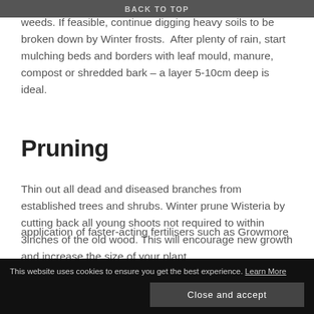BACK TO TOP
weeds. If feasible, continue digging heavy soils to be broken down by Winter frosts.  After plenty of rain, start mulching beds and borders with leaf mould, manure, compost or shredded bark – a layer 5-10cm deep is ideal.
Pruning
Thin out all dead and diseased branches from established trees and shrubs. Winter prune Wisteria by cutting back all young shoots not required to within 3inches of the old wood. This will encourage new growth and increase the size of your plant.
Feeding
application of faster-acting fertilisers such as Growmore
This website uses cookies to ensure you get the best experience. Learn More